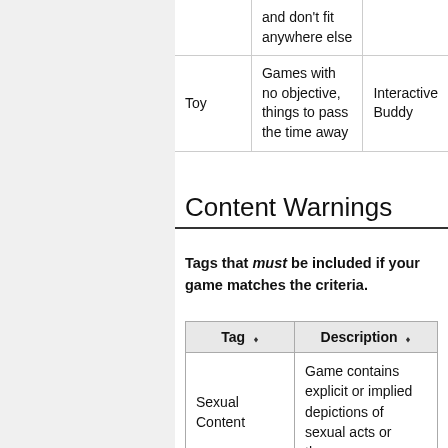|  |  |  |
| --- | --- | --- |
|  | and don't fit anywhere else |  |
| Toy | Games with no objective, things to pass the time away | Interactive Buddy |
Content Warnings
Tags that must be included if your game matches the criteria.
| Tag | Description |
| --- | --- |
| Sexual Content | Game contains explicit or implied depictions of sexual acts or themes. |
| Gore | Games contains realistic blood or guts. |